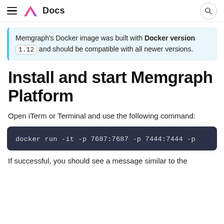Docs
Memgraph's Docker image was built with Docker version 1.12 and should be compatible with all newer versions.
Install and start Memgraph Platform
Open iTerm or Terminal and use the following command:
docker run -it -p 7687:7687 -p 7444:7444 -p
If successful, you should see a message similar to the